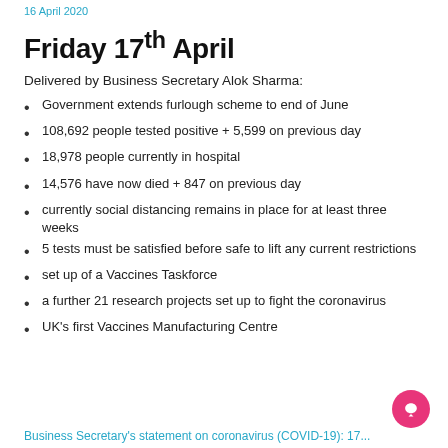16 April 2020
Friday 17th April
Delivered by Business Secretary Alok Sharma:
Government extends furlough scheme to end of June
108,692 people tested positive + 5,599 on previous day
18,978 people currently in hospital
14,576 have now died + 847 on previous day
currently social distancing remains in place for at least three weeks
5 tests must be satisfied before safe to lift any current restrictions
set up of a Vaccines Taskforce
a further 21 research projects set up to fight the coronavirus
UK's first Vaccines Manufacturing Centre
Business Secretary's statement on coronavirus (COVID-19): 17...